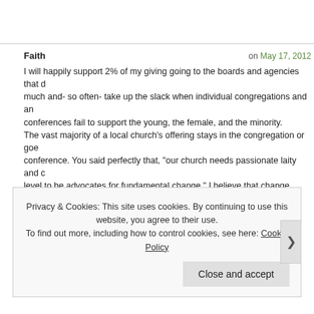Faith   on May 17, 2012
I will happily support 2% of my giving going to the boards and agencies that do so much and- so often- take up the slack when individual congregations and annual conferences fail to support the young, the female, and the minority. The vast majority of a local church's offering stays in the congregation or goes to conference. You said perfectly that, "our church needs passionate laity and clergy level to be advocates for fundamental change." I believe that change should happen at that level, with congregations and annual conferences leaving the 2% alone and doing what they have to attain what you say the general boards have already achieved:
Privacy & Cookies: This site uses cookies. By continuing to use this website, you agree to their use. To find out more, including how to control cookies, see here: Cookie Policy
Close and accept